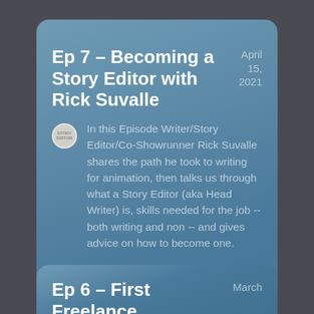Ep 7 - Becoming a Story Editor with Rick Suvalle
April 15, 2021
In this Episode Writer/Story Editor/Co-Showrunner Rick Suvalle shares the path he took to writing for animation, then talks us through what a Story Editor (aka Head Writer) is, skills needed for the job -- both writing and non -- and gives advice on how to become one.
Ep 6 - First Freelance
March